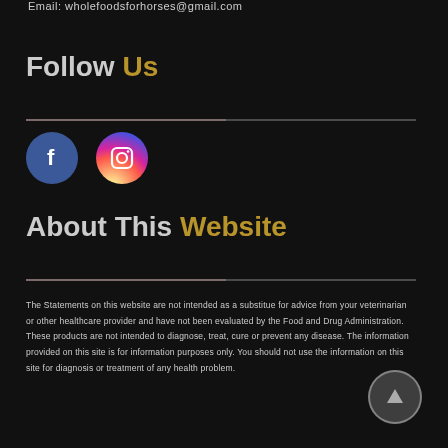Email: wholefoodsforhorses@gmail.com
Follow Us
[Figure (illustration): Social media icons: Facebook (blue circle with f) and Instagram (gradient circle with camera icon)]
About This Website
The Statements on this website are not intended as a substitue for advice from your veterinarian or other healthcare provider and have not been evaluated by the Food and Drug Administration. These products are not intended to diagnose, treat, cure or prevent any disease. The information provided on this site is for information purposes only. You should not use the information on this site for diagnosis or treatment of any health problem.